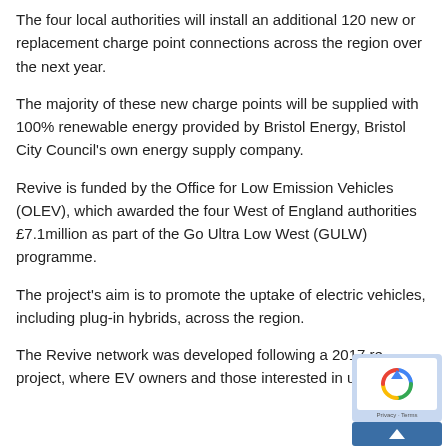The four local authorities will install an additional 120 new or replacement charge point connections across the region over the next year.
The majority of these new charge points will be supplied with 100% renewable energy provided by Bristol Energy, Bristol City Council's own energy supply company.
Revive is funded by the Office for Low Emission Vehicles (OLEV), which awarded the four West of England authorities £7.1million as part of the Go Ultra Low West (GULW) programme.
The project's aim is to promote the uptake of electric vehicles, including plug-in hybrids, across the region.
The Revive network was developed following a 2017 re… project, where EV owners and those interested in using EVs in…